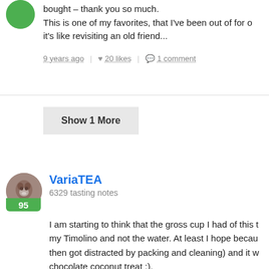bought – thank you so much.
This is one of my favorites, that I've been out of for o... it's like revisiting an old friend...
9 years ago | 20 likes | 1 comment
Show 1 More
VariaTEA
6329 tasting notes
I am starting to think that the gross cup I had of this ... my Timolino and not the water. At least I hope becau... then got distracted by packing and cleaning) and it w... chocolate coconut treat :).

In other news, I am already at the gate and my flight...